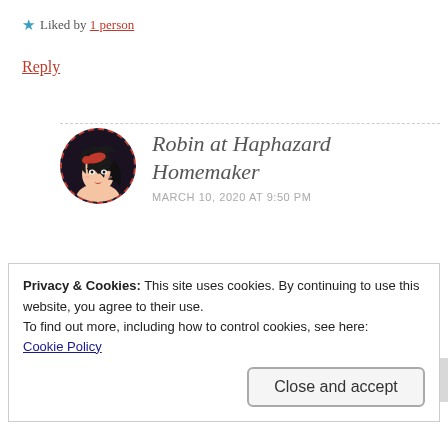★ Liked by 1 person
Reply
[Figure (illustration): Circular avatar with dashed red border showing an illustrated woman with black hair and red headband on dark background]
Robin at Haphazard Homemaker
MARCH 10, 2020 AT 9:50 PM
Thank you for visiting! 😊
★ Liked by 1 person (partially visible)
Privacy & Cookies: This site uses cookies. By continuing to use this website, you agree to their use.
To find out more, including how to control cookies, see here:
Cookie Policy
Close and accept